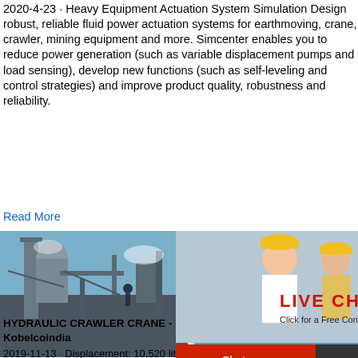2020-4-23 · Heavy Equipment Actuation System Simulation Design robust, reliable fluid power actuation systems for earthmoving, crane, crawler, mining equipment and more. Simcenter enables you to reduce power generation (such as variable displacement pumps and load sensing), develop new functions (such as self-leveling and control strategies) and improve product quality, robustness and reliability.
Read More
[Figure (photo): Industrial equipment/plant photo on left side of page]
[Figure (screenshot): Live chat popup overlay with people in hard hats, LIVE CHAT text in red/orange, 'Click for a Free Consultation', Chat now (red button) and Chat later (dark button), hour online text, and a close X button]
[Figure (photo): Blue sidebar with industrial machine/crusher photo and Click me to chat>> button]
HYDRAULIC CRAWLER CRANE - Kobelcoindia
2019-11-13 · Displacement: 10,520 liters R kW/2,000 min-1 {rpm} ... Four variable disp pumps are driven by heavy-duty pump driv displacement pumps are used ... Crawler d
Enquiry
limingjlmofen